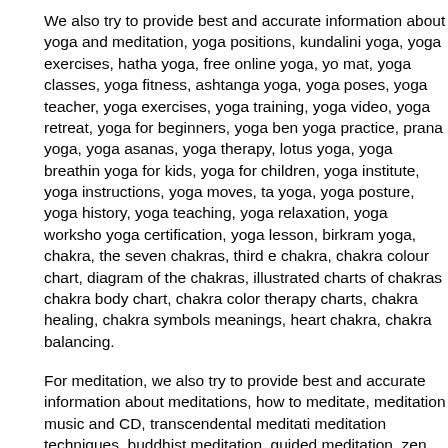We also try to provide best and accurate information about yoga and meditation, yoga positions, kundalini yoga, yoga exercises, hatha yoga, free online yoga, yo mat, yoga classes, yoga fitness, ashtanga yoga, yoga poses, yoga teacher, yoga exercises, yoga training, yoga video, yoga retreat, yoga for beginners, yoga ben yoga practice, prana yoga, yoga asanas, yoga therapy, lotus yoga, yoga breathin yoga for kids, yoga for children, yoga institute, yoga instructions, yoga moves, ta yoga, yoga posture, yoga history, yoga teaching, yoga relaxation, yoga worksho yoga certification, yoga lesson, birkram yoga, chakra, the seven chakras, third e chakra, chakra colour chart, diagram of the chakras, illustrated charts of chakras chakra body chart, chakra color therapy charts, chakra healing, chakra symbols meanings, heart chakra, chakra balancing.
For meditation, we also try to provide best and accurate information about meditations, how to meditate, meditation music and CD, transcendental meditati meditation techniques, buddhist meditation, guided meditation, zen meditation, cosmic meditation, benefits of meditation, meditation for beginners, meditation classes, meditation retreat, meditation and relaxation, vipassana meditation, chr meditation, chakra meditation, daily meditation, healing meditation, meditation retreats, online meditation, meditation retreats, mind meditation, prayer meditatio spiritual meditation, meditation books, meditation class, meditation guide, medita technique, OSHO meditation, meditation course, meditation practice, light medit